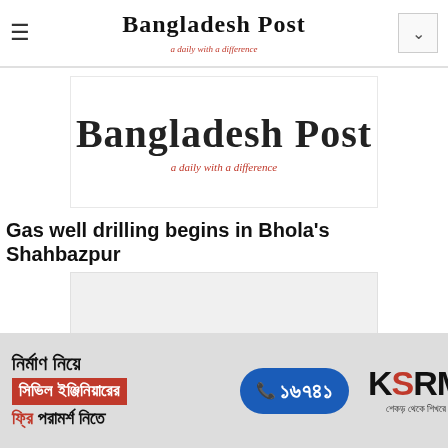Bangladesh Post — a daily with a difference
[Figure (logo): Bangladesh Post newspaper logo — large blackletter text 'Bangladesh Post' with italic red tagline 'a daily with a difference']
Gas well drilling begins in Bhola's Shahbazpur
[Figure (photo): Article image placeholder (light grey box)]
[Figure (infographic): Advertisement banner: Bengali text 'নির্মাণ নিয়ে সিভিল ইঞ্জিনিয়ারের ফ্রি পরামর্শ নিতে' with phone number ১৬৭৪১ and KSRM logo]